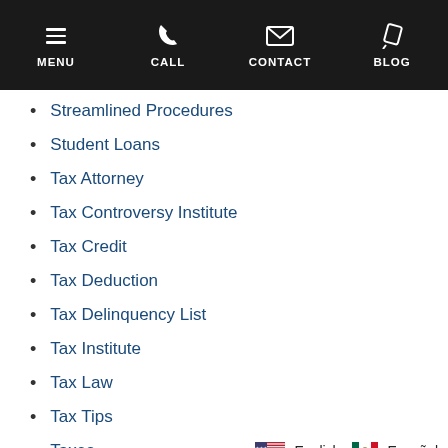MENU  CALL  CONTACT  BLOG
Streamlined Procedures
Student Loans
Tax Attorney
Tax Controversy Institute
Tax Credit
Tax Deduction
Tax Delinquency List
Tax Institute
Tax Law
Tax Tips
Taxes
English  Español